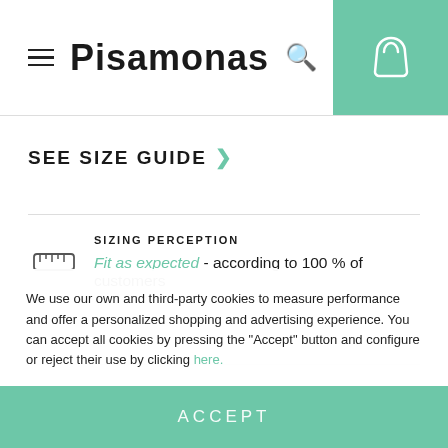Pisamonas
SEE SIZE GUIDE >
SIZING PERCEPTION
Fit as expected - according to 100 % of customers
We use our own and third-party cookies to measure performance and offer a personalized shopping and advertising experience. You can accept all cookies by pressing the "Accept" button and configure or reject their use by clicking here.
ACCEPT